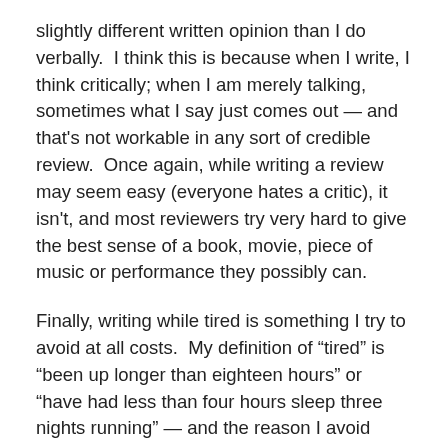slightly different written opinion than I do verbally.  I think this is because when I write, I think critically; when I am merely talking, sometimes what I say just comes out — and that's not workable in any sort of credible review.  Once again, while writing a review may seem easy (everyone hates a critic), it isn't, and most reviewers try very hard to give the best sense of a book, movie, piece of music or performance they possibly can.
Finally, writing while tired is something I try to avoid at all costs.  My definition of “tired” is “been up longer than eighteen hours” or “have had less than four hours sleep three nights running” — and the reason I avoid writing fiction, reviews or blogs during these times is because my words often come out not just wrong, but catastrophically wrong.